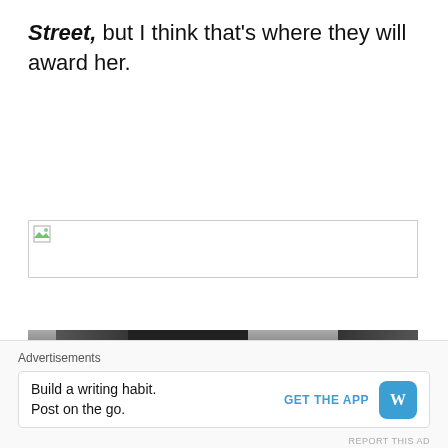Street, but I think that's where they will award her.
[Figure (other): Broken image placeholder box with small image icon in top-left corner]
[Figure (photo): Partial photo showing a person with a bright light behind them, dark tones]
Advertisements
Build a writing habit. Post on the go.
GET THE APP